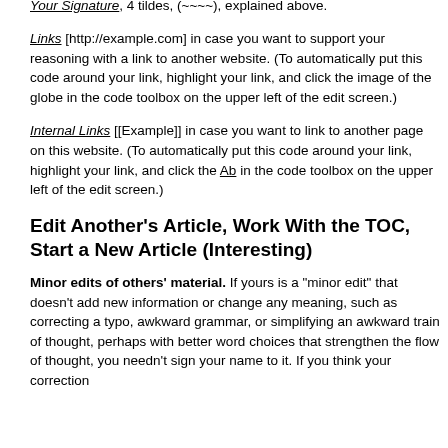edit area. (The line produced will be solid, not broken like ---.）
Your Signature, 4 tildes, (~~~~), explained above.
Links [http://example.com] in case you want to support your reasoning with a link to another website. (To automatically put this code around your link, highlight your link, and click the image of the globe in the code toolbox on the upper left of the edit screen.)
Internal Links [[Example]] in case you want to link to another page on this website. (To automatically put this code around your link, highlight your link, and click the Ab in the code toolbox on the upper left of the edit screen.)
Edit Another's Article, Work With the TOC, Start a New Article (Interesting)
Minor edits of others' material. If yours is a "minor edit" that doesn't add new information or change any meaning, such as correcting a typo, awkward grammar, or simplifying an awkward train of thought, perhaps with better word choices that strengthen the flow of thought, you needn't sign your name to it. If you think your correction